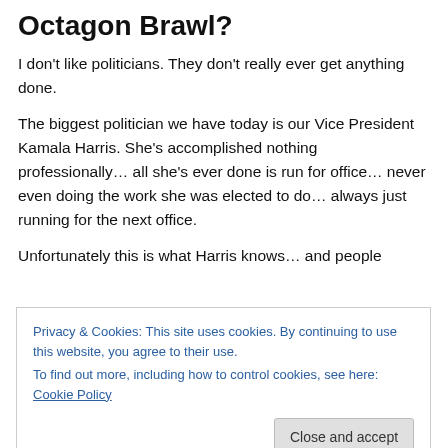Octagon Brawl?
I don't like politicians. They don't really ever get anything done.
The biggest politician we have today is our Vice President Kamala Harris. She's accomplished nothing professionally… all she's ever done is run for office… never even doing the work she was elected to do… always just running for the next office.
Unfortunately this is what Harris knows… and people
Privacy & Cookies: This site uses cookies. By continuing to use this website, you agree to their use.
To find out more, including how to control cookies, see here: Cookie Policy
Close and accept